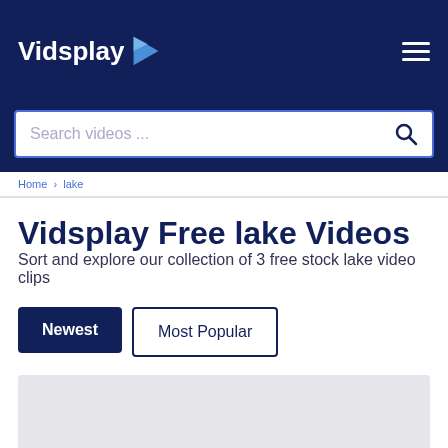Vidsplay
Search videos ...
Home > lake
Vidsplay Free lake Videos
Sort and explore our collection of 3 free stock lake video clips
Newest
Most Popular
[Figure (other): Video thumbnail placeholder (grey rectangle)]